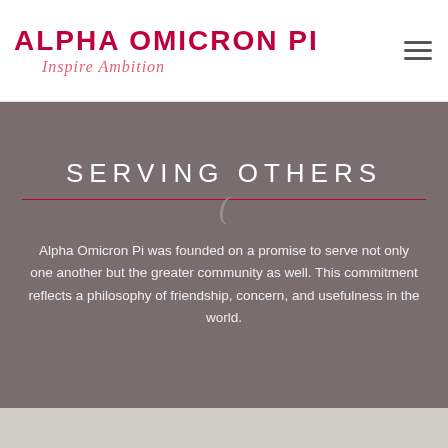[Figure (logo): Alpha Omicron Pi logo with bold red uppercase text 'ALPHA OMICRON PI' and italic pink cursive 'Inspire Ambition' below]
SERVING OTHERS
Alpha Omicron Pi was founded on a promise to serve not only one another but the greater community as well. This commitment reflects a philosophy of friendship, concern, and usefulness in the world.
[Figure (photo): Bottom strip showing start of a photograph, partially visible]